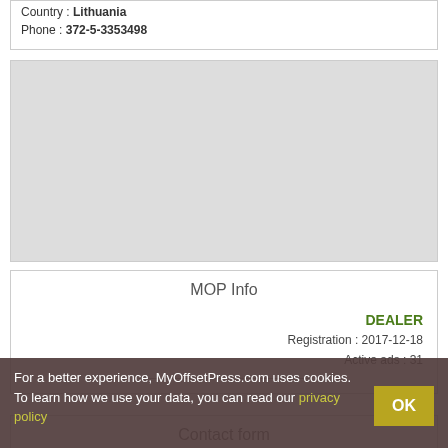Country : Lithuania
Phone : 372-5-3353498
[Figure (other): Light grey map placeholder area]
MOP Info
DEALER
Registration : 2017-12-18
Active ads : 31
Contact form
For a better experience, MyOffsetPress.com uses cookies. To learn how we use your data, you can read our privacy policy